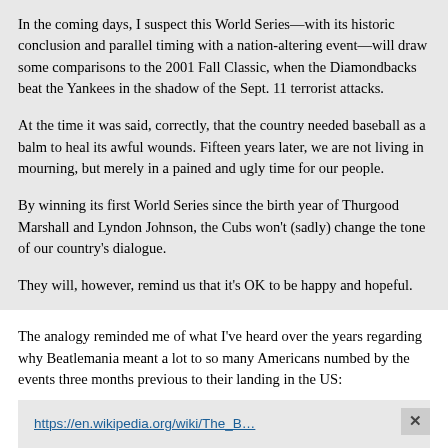In the coming days, I suspect this World Series—with its historic conclusion and parallel timing with a nation-altering event—will draw some comparisons to the 2001 Fall Classic, when the Diamondbacks beat the Yankees in the shadow of the Sept. 11 terrorist attacks.

At the time it was said, correctly, that the country needed baseball as a balm to heal its awful wounds. Fifteen years later, we are not living in mourning, but merely in a pained and ugly time for our people.

By winning its first World Series since the birth year of Thurgood Marshall and Lyndon Johnson, the Cubs won't (sadly) change the tone of our country's dialogue.

They will, however, remind us that it's OK to be happy and hopeful.
The analogy reminded me of what I've heard over the years regarding why Beatlemania meant a lot to so many Americans numbed by the events three months previous to their landing in the US:
https://en.wikipedia.org/wiki/The_B…
American political climate, early 1964
Eleven weeks before the Beatles' arrival in the U.S. President John